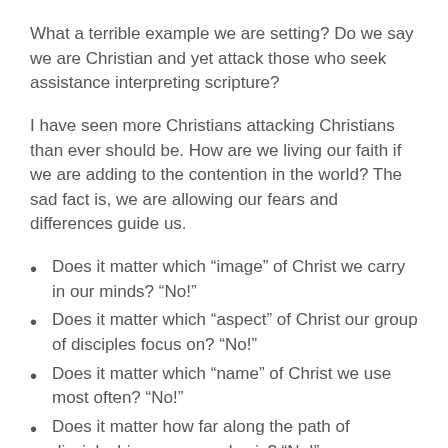What a terrible example we are setting? Do we say we are Christian and yet attack those who seek assistance interpreting scripture?
I have seen more Christians attacking Christians than ever should be. How are we living our faith if we are adding to the contention in the world? The sad fact is, we are allowing our fears and differences guide us.
Does it matter which “image” of Christ we carry in our minds? “No!”
Does it matter which “aspect” of Christ our group of disciples focus on? “No!”
Does it matter which “name” of Christ we use most often? “No!”
Does it matter how far along the path of discipleship someone else is? “No!”